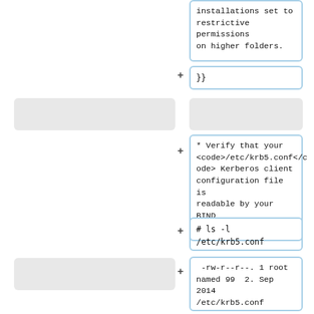installations set to restrictive permissions on higher folders.
}}
* Verify that your <code>/etc/krb5.conf</code> Kerberos client configuration file is readable by your BIND user. For example:
# ls -l /etc/krb5.conf
-rw-r--r--. 1 root named 99  2. Sep 2014 /etc/krb5.conf